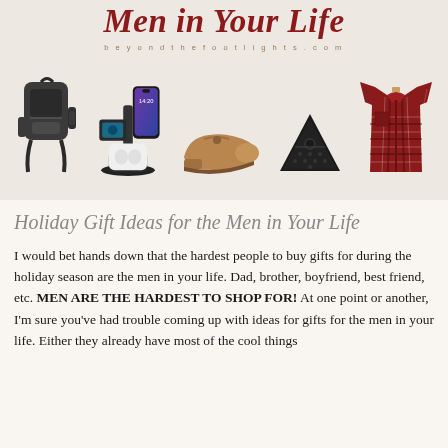[Figure (photo): Hero image with italic bold red title 'Men in Your Life' overlaid on a beige background, with product photos: backpack, charging station with phone, loafers, bluetooth speaker, flannel shirt. Website text: beyondthefootlights.com]
Holiday Gift Ideas for the Men in Your Life
I would bet hands down that the hardest people to buy gifts for during the holiday season are the men in your life. Dad, brother, boyfriend, best friend, etc. MEN ARE THE HARDEST TO SHOP FOR! At one point or another, I'm sure you've had trouble coming up with ideas for gifts for the men in your life. Either they already have most of the cool things